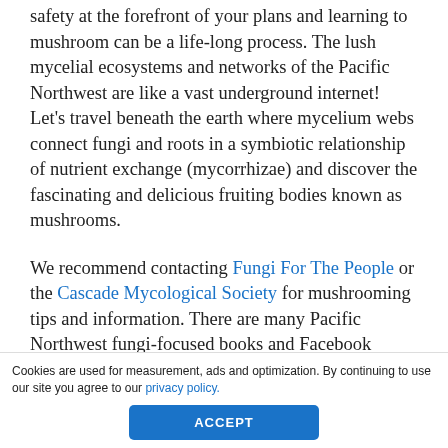safety at the forefront of your plans and learning to mushroom can be a life-long process. The lush mycelial ecosystems and networks of the Pacific Northwest are like a vast underground internet! Let's travel beneath the earth where mycelium webs connect fungi and roots in a symbiotic relationship of nutrient exchange (mycorrhizae) and discover the fascinating and delicious fruiting bodies known as mushrooms.
We recommend contacting Fungi For The People or the Cascade Mycological Society for mushrooming tips and information. There are many Pacific Northwest fungi-focused books and Facebook groups that can also help you get started with identification basics, safety tips and sanity checks. If you're a beginner, go with an
Cookies are used for measurement, ads and optimization. By continuing to use our site you agree to our privacy policy.